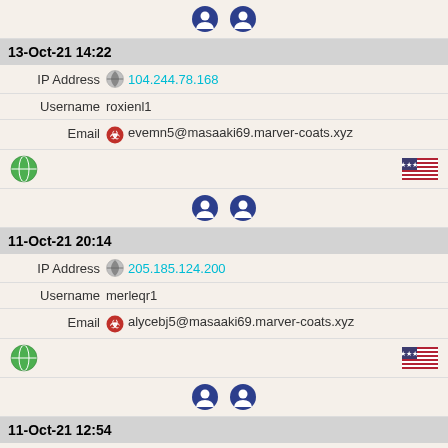[Figure (infographic): Two dark blue circular icons (lock/user icons)]
13-Oct-21 14:22
IP Address 104.244.78.168
Username roxienl1
Email evemn5@masaaki69.marver-coats.xyz
[Figure (infographic): Green globe icon and US flag icon]
[Figure (infographic): Two dark blue circular icons (lock/user icons)]
11-Oct-21 20:14
IP Address 205.185.124.200
Username merleqr1
Email alycebj5@masaaki69.marver-coats.xyz
[Figure (infographic): Green globe icon and US flag icon]
[Figure (infographic): Two dark blue circular icons (lock/user icons)]
11-Oct-21 12:54
IP Address 185.220.102.242